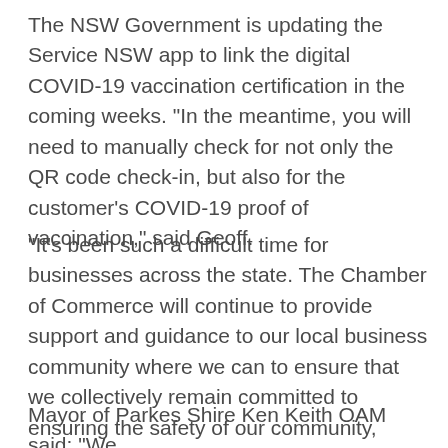The NSW Government is updating the Service NSW app to link the digital COVID-19 vaccination certification in the coming weeks. "In the meantime, you will need to manually check for not only the QR code check-in, but also for the customer's COVID-19 proof of vaccination," said Geoff.
"It's been such a difficult time for businesses across the state. The Chamber of Commerce will continue to provide support and guidance to our local business community where we can to ensure that we collectively remain committed to ensuring the safety of our community, whilst safeguarding the strength and resilience of our businesses."
Mayor of Parkes Shire Ken Keith OAM said: "We